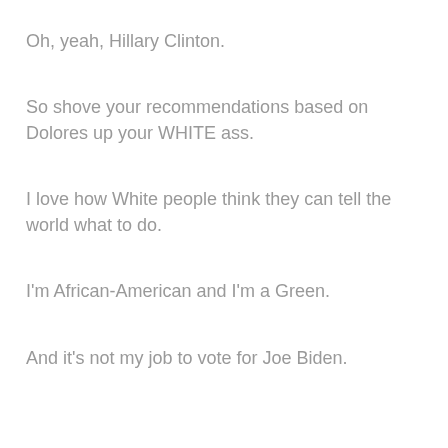Oh, yeah, Hillary Clinton.
So shove your recommendations based on Dolores up your WHITE ass.
I love how White people think they can tell the world what to do.
I'm African-American and I'm a Green.
And it's not my job to vote for Joe Biden.